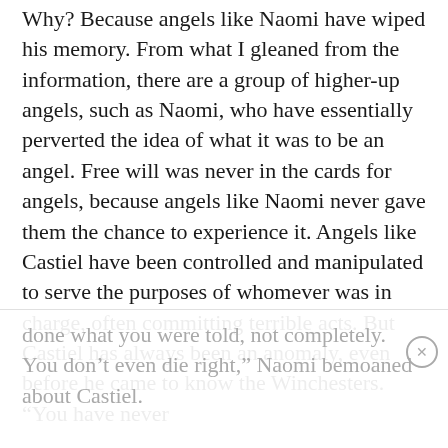Why? Because angels like Naomi have wiped his memory. From what I gleaned from the information, there are a group of higher-up angels, such as Naomi, who have essentially perverted the idea of what it was to be an angel. Free will was never in the cards for angels, because angels like Naomi never gave them the chance to experience it. Angels like Castiel have been controlled and manipulated to serve the purposes of whomever was in charge, often committing terrible acts. But Castiel has always been an anomaly, even before he came to know the Winchesters. “You have never done what you were told, not completely. You don’t even die right,” Naomi bemoaned about Castiel.